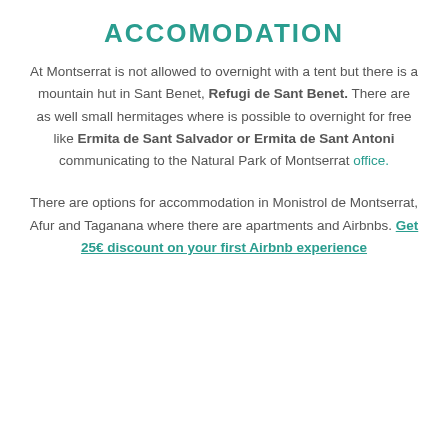Accomodation
At Montserrat is not allowed to overnight with a tent but there is a mountain hut in Sant Benet, Refugi de Sant Benet. There are as well small hermitages where is possible to overnight for free like Ermita de Sant Salvador or Ermita de Sant Antoni communicating to the Natural Park of Montserrat office.
There are options for accommodation in Monistrol de Montserrat, Afur and Taganana where there are apartments and Airbnbs. Get 25€ discount on your first Airbnb experience